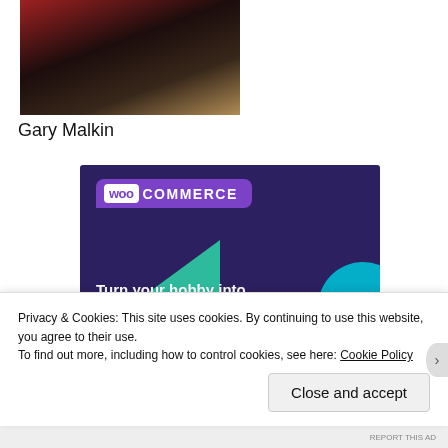[Figure (photo): Partial photo of a person, cropped, dark background with reddish and warm tones]
Gary Malkin
[Figure (infographic): WooCommerce advertisement: dark purple background with green triangle shape and cyan circle. Text reads 'Turn your hobby into a business in 8 steps' with a 'Start a new store' button.]
Privacy & Cookies: This site uses cookies. By continuing to use this website, you agree to their use.
To find out more, including how to control cookies, see here: Cookie Policy
Close and accept